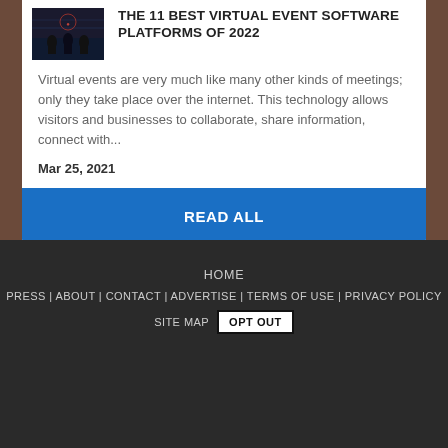[Figure (photo): Small thumbnail image showing silhouetted people with digital/tech overlay, dark blue tones]
THE 11 BEST VIRTUAL EVENT SOFTWARE PLATFORMS OF 2022
Virtual events are very much like many other kinds of meetings; only they take place over the internet. This technology allows visitors and businesses to collaborate, share information, connect with...
Mar 25, 2021
READ ALL
HOME | PRESS | ABOUT | CONTACT | ADVERTISE | TERMS OF USE | PRIVACY POLICY | SITE MAP | OPT OUT